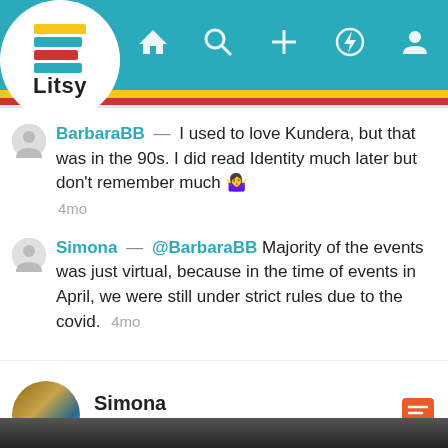[Figure (screenshot): Litsy app navigation bar with logo, home, search, add, notifications, and profile icons on teal background with yellow and red stripe]
BarbaraBB — I used to love Kundera, but that was in the 90s. I did read Identity much later but don't remember much 🤷 4mo
Simona — @BarbaraBB Majority of the events was just virtual, because in the time of events in April, we were still under strict rules due to the covid. 4mo
45 likes   9 comments
Simona
Untitled | Anonymous